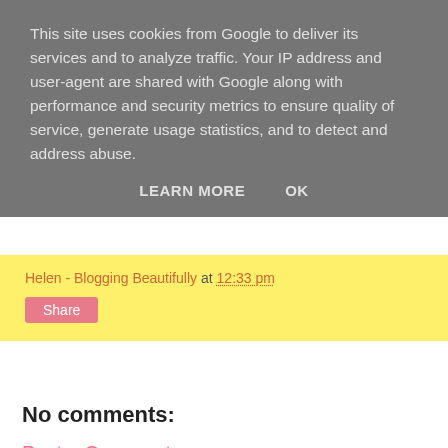This site uses cookies from Google to deliver its services and to analyze traffic. Your IP address and user-agent are shared with Google along with performance and security metrics to ensure quality of service, generate usage statistics, and to detect and address abuse.
LEARN MORE   OK
Helen - Blogging Beautifully at 12:33 pm
Share
No comments:
Post a Comment
I absolutely love it when someone leaves me a comment, I will always reply back when possible! You can also follow me on twitter for more beautiful chatter: @Helsy_1983